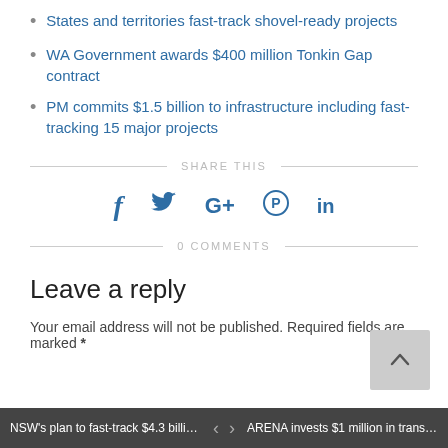States and territories fast-track shovel-ready projects
WA Government awards $400 million Tonkin Gap contract
PM commits $1.5 billion to infrastructure including fast-tracking 15 major projects
SHARE THIS
[Figure (infographic): Social media share icons: Facebook (f), Twitter (bird), Google+ (G+), Pinterest (circle with P), LinkedIn (in)]
0 COMMENTS
Leave a reply
Your email address will not be published. Required fields are marked *
NSW's plan to fast-track $4.3 billion tran... | < > | ARENA invests $1 million in transmissio...